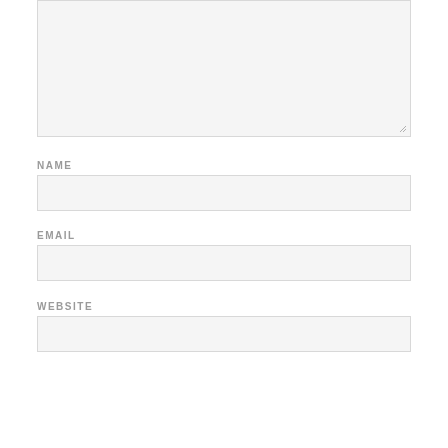[Figure (screenshot): Large textarea input field with light gray background and resize handle in bottom-right corner]
NAME
[Figure (screenshot): Single-line text input field for name, light gray background]
EMAIL
[Figure (screenshot): Single-line text input field for email, light gray background]
WEBSITE
[Figure (screenshot): Single-line text input field for website, light gray background]